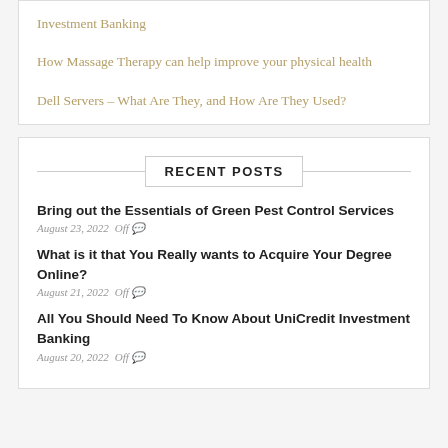Investment Banking
How Massage Therapy can help improve your physical health
Dell Servers – What Are They, and How Are They Used?
RECENT POSTS
Bring out the Essentials of Green Pest Control Services
August 23, 2022   Off
What is it that You Really wants to Acquire Your Degree Online?
August 21, 2022   Off
All You Should Need To Know About UniCredit Investment Banking
August 20, 2022   Off